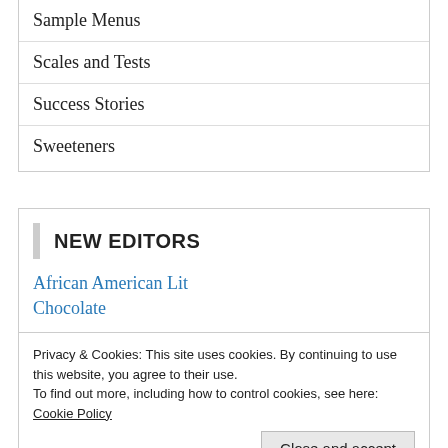Sample Menus
Scales and Tests
Success Stories
Sweeteners
NEW EDITORS
African American Lit
Chocolate
Privacy & Cookies: This site uses cookies. By continuing to use this website, you agree to their use.
To find out more, including how to control cookies, see here: Cookie Policy
Close and accept
Mexican Food